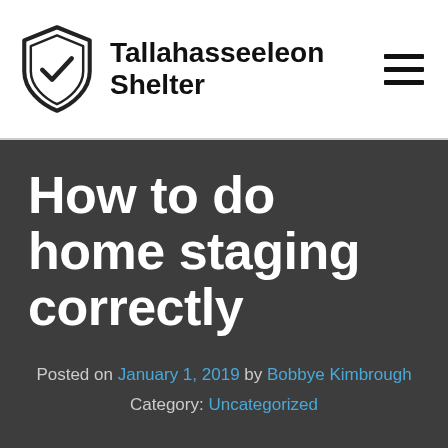Tallahasseeleon Shelter
How to do home staging correctly
Posted on January 1, 2019 by Bobbye Kimbrough
Category: Uncategorized